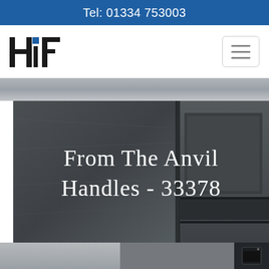Tel: 01334 753003
[Figure (logo): HiF logo in black and blue]
[Figure (photo): Hero image: dark grey textured panels and cabinet doors with overlay text 'From The Anvil Handles - 33378']
From The Anvil Handles - 33378